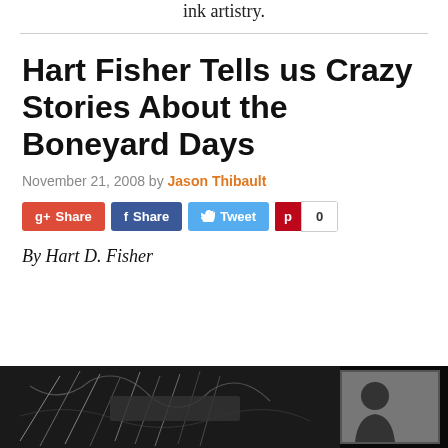ink artistry.
Hart Fisher Tells us Crazy Stories About the Boneyard Days
November 21, 2008 by Jason Thibault
[Figure (infographic): Social sharing buttons: G+ Share, f Share, Tweet, and Pinterest with count 0]
By Hart D. Fisher
[Figure (photo): Black and white photograph showing comic book artwork with ink drawings, and an inset photo of a person.]